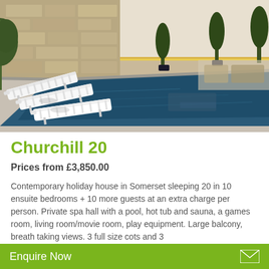[Figure (photo): Indoor swimming pool with white lounge chairs beside it, stone wall in background with LED lighting strip, tropical potted plants, modern spa hall interior]
Churchill 20
Prices from £3,850.00
Contemporary holiday house in Somerset sleeping 20 in 10 ensuite bedrooms + 10 more guests at an extra charge per person. Private spa hall with a pool, hot tub and sauna, a games room, living room/movie room, play equipment. Large balcony, breath taking views. 3 full size cots and 3
Enquire Now